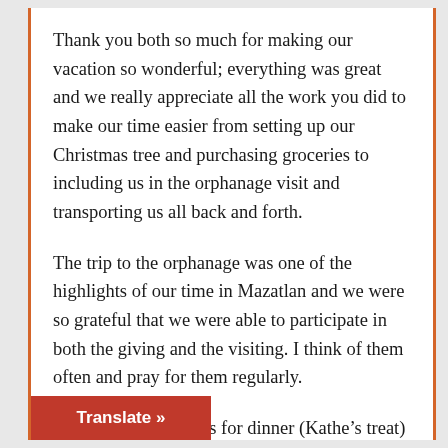Thank you both so much for making our vacation so wonderful; everything was great and we really appreciate all the work you did to make our time easier from setting up our Christmas tree and purchasing groceries to including us in the orphanage visit and transporting us all back and forth.
The trip to the orphanage was one of the highlights of our time in Mazatlan and we were so grateful that we were able to participate in both the giving and the visiting. I think of them often and pray for them regularly.
We did go to Topolo’s for dinner (Kathe’s treat) and it was an absolute delight. The food was fantastic and the [wait] staff [were] all fun and entertaining. It was such a [memor]able evening